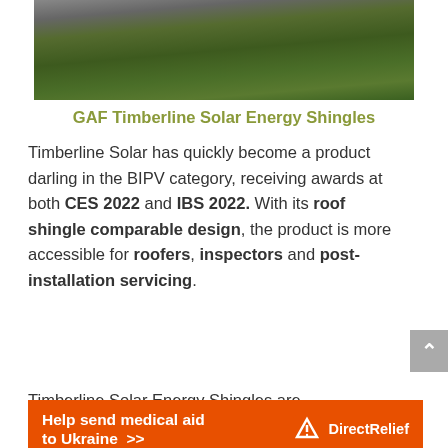[Figure (photo): Photo of a house with solar shingles on the roof, green landscaping visible]
GAF Timberline Solar Energy Shingles
Timberline Solar has quickly become a product darling in the BIPV category, receiving awards at both CES 2022 and IBS 2022. With its roof shingle comparable design, the product is more accessible for roofers, inspectors and post-installation servicing.
Timberline Solar Energy Shingles are
[Figure (other): Ad banner: Help send medical aid to Ukraine >> with Direct Relief logo]